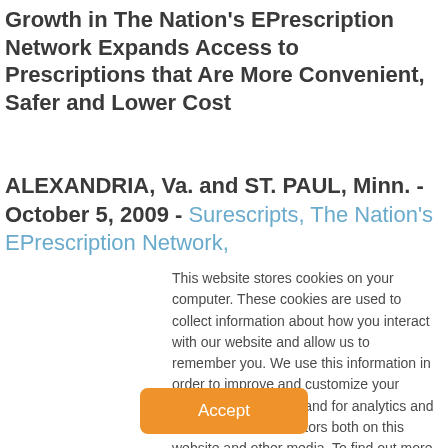Growth in The Nation's EPrescription Network Expands Access to Prescriptions that Are More Convenient, Safer and Lower Cost
ALEXANDRIA, Va. and ST. PAUL, Minn. - October 5, 2009 - Surescripts, The Nation's EPrescription Network,
This website stores cookies on your computer. These cookies are used to collect information about how you interact with our website and allow us to remember you. We use this information in order to improve and customize your browsing experience and for analytics and metrics about our visitors both on this website and other media. To find out more about the cookies we use, see our Terms of Use.
Accept